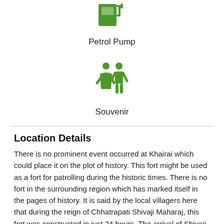[Figure (illustration): Green petrol pump icon]
Petrol Pump
[Figure (illustration): Green souvenir/people icon showing a woman and a man figure]
Souvenir
Location Details
There is no prominent event occurred at Khairai which could place it on the plot of history. This fort might be used as a fort for patrolling during the historic times. There is no fort in the surrounding region which has marked itself in the pages of history. It is said by the local villagers here that during the reign of Chhatrapati Shivaji Maharaj, this fort was constructed in just 24 hours. The arrival of Shivaji Maharaj on the land of Khairai has made it an important fort. Khairai was controlled by the leader of Waghera fort.